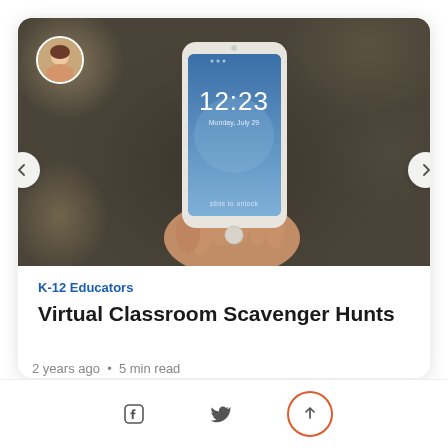[Figure (photo): A hand holding a smartphone showing time 12:23 on a lock screen, set against a blurred bokeh background. A small circular avatar photo is visible in the top left of the image. Left and right navigation arrows flank the photo card.]
K-12 Educators
Virtual Classroom Scavenger Hunts
2 years ago • 5 min read